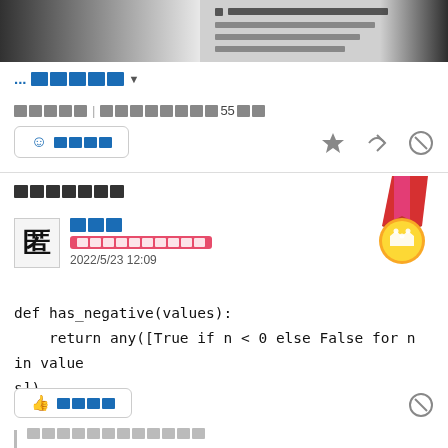[Figure (screenshot): Top portion of a web page showing Japanese text content with bullet points]
...□□□□□ ▼
C□□□□ | □□□□□□□□55□□
☺ □□□□
[Figure (illustration): Gold medal with crown symbol and red ribbon]
□□□□□□□
匿 □□□
□□□□□□□□□□
2022/5/23 12:09
def has_negative(values):
    return any([True if n < 0 else False for n in values])
👍 □□□□
□□□□□□□□□□□□